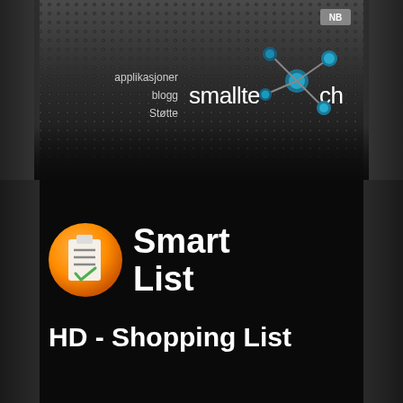[Figure (screenshot): Smalltech website header with perforated metal background, navigation links (applikasjoner, blogg, Støtte), smalltech logo text with molecule graphic, and NB badge in top right corner]
[Figure (logo): Orange circular app icon with clipboard/list graphic (Smart List HD - Shopping List app icon)]
Smart List
[Figure (infographic): Platform icons showing WINDOWS, ANDROID (highlighted in white), IPAD, IPOD, IPHONE]
HD - Shopping List